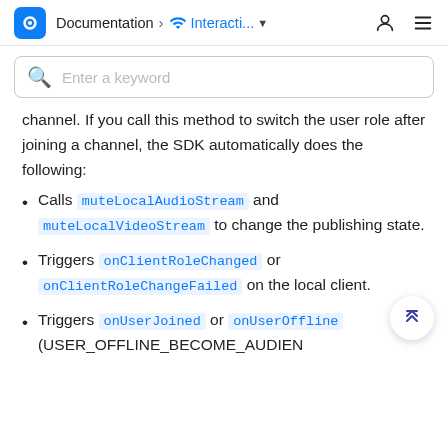Documentation > Interacti... (dropdown) [user icon] [menu icon]
Enter a keyword
channel. If you call this method to switch the user role after joining a channel, the SDK automatically does the following:
Calls muteLocalAudioStream and muteLocalVideoStream to change the publishing state.
Triggers onClientRoleChanged or onClientRoleChangeFailed on the local client.
Triggers onUserJoined or onUserOffline (USER_OFFLINE_BECOME_AUDIEN